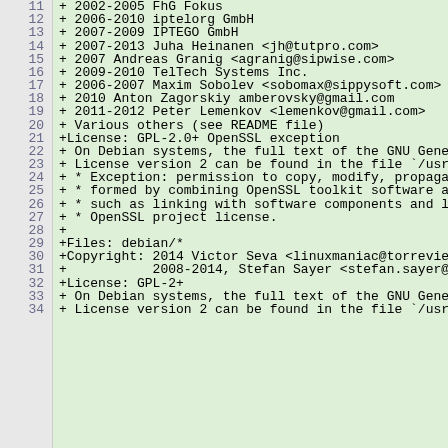Code diff showing copyright/license lines 11-34 of a Debian package file